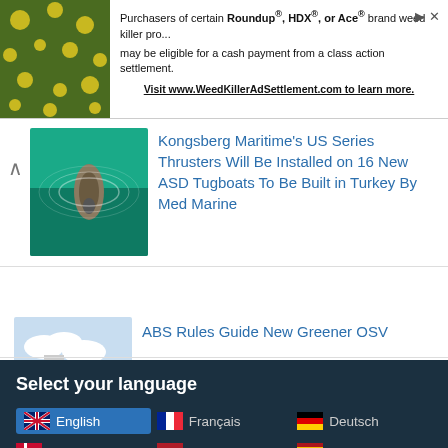[Figure (screenshot): Advertisement banner for weed killer class action settlement]
Purchasers of certain Roundup®, HDX®, or Ace® brand weed killer products may be eligible for a cash payment from a class action settlement. Visit www.WeedKillerAdSettlement.com to learn more.
[Figure (photo): Aerial photo of tugboat on teal water]
Kongsberg Maritime's US Series Thrusters Will Be Installed on 16 New ASD Tugboats To Be Built in Turkey By Med Marine
[Figure (photo): Green and white offshore supply vessel on dark blue water]
ABS Rules Guide New Greener OSV
Select your language
English
Français
Deutsch
Danish
Nederlands
Español
Polski
Български
Türkçe
Русский
Italiano
Ελληνικά